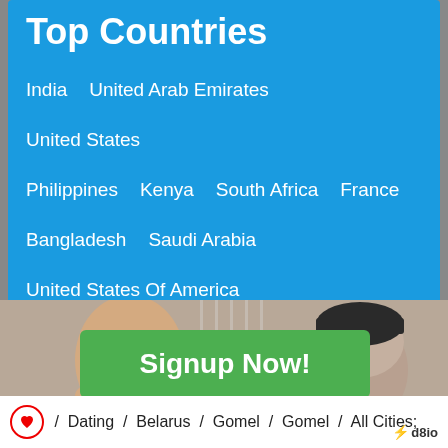Top Countries
India   United Arab Emirates   United States
Philippines   Kenya   South Africa   France
Bangladesh   Saudi Arabia   United States Of America
United Kingdom   Qatar   Malaysia   Egypt
Netherlands   Nepal
[Figure (photo): Two people in a tense or sad mood, one with arms crossed wearing a white tank top, another wearing a dark beanie hat]
Signup Now!
/ Dating / Belarus / Gomel / Gomel / All Cities;